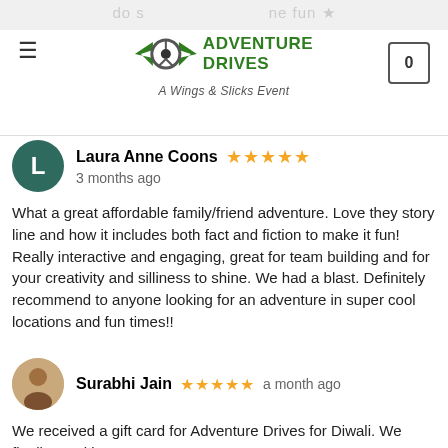Adventure Drives — A Wings & Slicks Event
Laura Anne Coons  ★★★★★  3 months ago

What a great affordable family/friend adventure. Love they story line and how it includes both fact and fiction to make it fun! Really interactive and engaging, great for team building and for your creativity and silliness to shine. We had a blast. Definitely recommend to anyone looking for an adventure in super cool locations and fun times!!
Surabhi Jain  ★★★★★  a month ago

We received a gift card for Adventure Drives for Diwali. We finally used it.